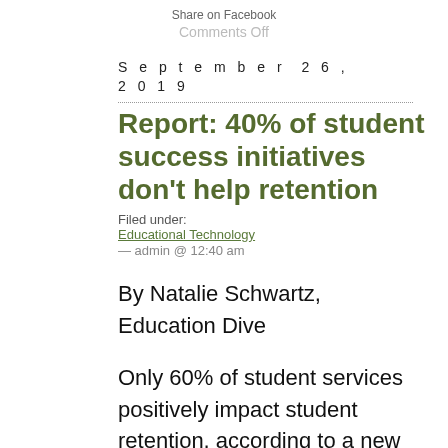Share on Facebook
Comments Off
September 26, 2019
Report: 40% of student success initiatives don't help retention
Filed under:
Educational Technology
— admin @ 12:40 am
By Natalie Schwartz, Education Dive
Only 60% of student services positively impact student retention, according to a new analysis of more than 1,000 initiatives